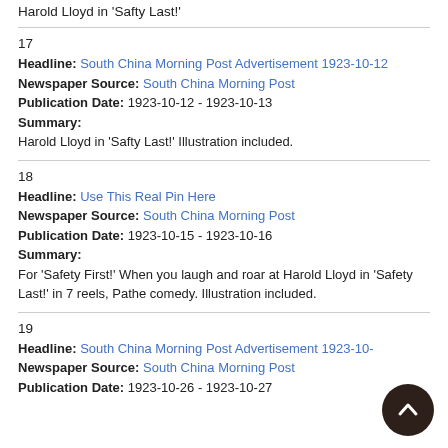Harold Lloyd in 'Safty Last!'
17
Headline: South China Morning Post Advertisement 1923-10-12
Newspaper Source: South China Morning Post
Publication Date: 1923-10-12 - 1923-10-13
Summary:
Harold Lloyd in 'Safty Last!' Illustration included.
18
Headline: Use This Real Pin Here
Newspaper Source: South China Morning Post
Publication Date: 1923-10-15 - 1923-10-16
Summary:
For 'Safety First!' When you laugh and roar at Harold Lloyd in 'Safety Last!' in 7 reels, Pathe comedy. Illustration included.
19
Headline: South China Morning Post Advertisement 1923-10-
Newspaper Source: South China Morning Post
Publication Date: 1923-10-26 - 1923-10-27